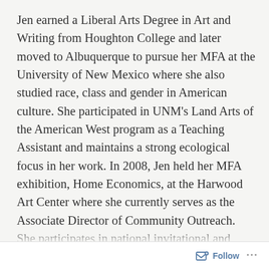Jen earned a Liberal Arts Degree in Art and Writing from Houghton College and later moved to Albuquerque to pursue her MFA at the University of New Mexico where she also studied race, class and gender in American culture. She participated in UNM's Land Arts of the American West program as a Teaching Assistant and maintains a strong ecological focus in her work. In 2008, Jen held her MFA exhibition, Home Economics, at the Harwood Art Center where she currently serves as the Associate Director of Community Outreach. She participates in national invitational and juried exhibitions including: Evocative Garden, NCECA Biennial, Beyond the Brickyard at the Archie Bray Foundation in Helena, Montana; Small Favors at the Clay Studio in Philadelphia; and Art in Craft Media at the Burchfield Penney Art Center in Buffalo. Her writing has been published in the international journal, Ceramics Art
Follow ···